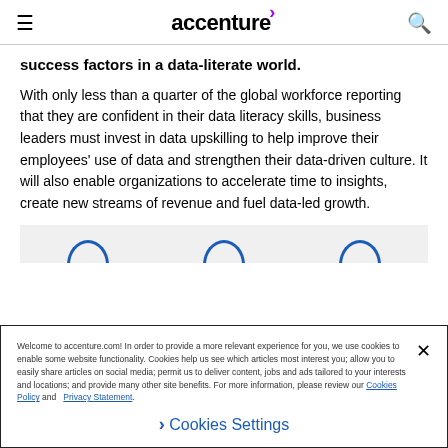accenture
success factors in a data-literate world.
With only less than a quarter of the global workforce reporting that they are confident in their data literacy skills, business leaders must invest in data upskilling to help improve their employees' use of data and strengthen their data-driven culture. It will also enable organizations to accelerate time to insights, create new streams of revenue and fuel data-led growth.
[Figure (other): Grey strip with three blue semicircular arcs at the bottom of the content area]
Welcome to accenture.com! In order to provide a more relevant experience for you, we use cookies to enable some website functionality. Cookies help us see which articles most interest you; allow you to easily share articles on social media; permit us to deliver content, jobs and ads tailored to your interests and locations; and provide many other site benefits. For more information, please review our Cookies Policy and Privacy Statement.
Cookies Settings